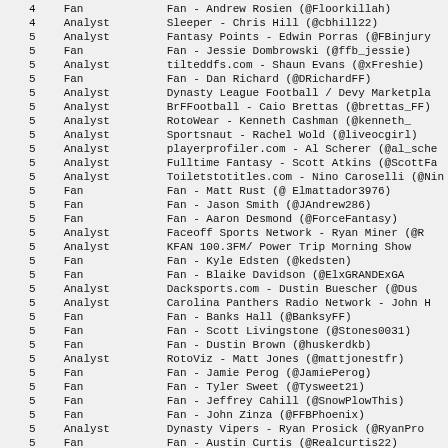| # | Type | Name |
| --- | --- | --- |
| 4 | Fan | Fan - Andrew Rosien (@Floorkillah) |
| 4 | Analyst | Sleeper - Chris Hill (@cbhill22) |
| 5 | Analyst | Fantasy Points - Edwin Porras (@FBinjury |
| 5 | Fan | Fan - Jessie Dombrowski (@ffb_jessie) |
| 5 | Analyst | tilteddfs.com - Shaun Evans (@xFreshie) |
| 5 | Fan | Fan - Dan Richard (@DRichardFF) |
| 5 | Analyst | Dynasty League Football / Devy Marketpla |
| 5 | Analyst | BrFFootball - Caio Brettas (@brettas_FF) |
| 5 | Analyst | RotoWear - Kenneth Cashman (@kenneth_ |
| 5 | Analyst | Sportsnaut - Rachel Wold (@liveocgirl) |
| 5 | Analyst | playerprofiler.com - Al Scherer (@al_sche |
| 5 | Analyst | Fulltime Fantasy - Scott Atkins (@ScottFa |
| 5 | Analyst | Toiletstotitles.com - Nino Caroselli (@Nin |
| 5 | Fan | Fan - Matt Rust (@ Elmattador3976) |
| 5 | Fan | Fan - Jason Smith (@JAndrew286) |
| 5 | Fan | Fan - Aaron Desmond (@ForceFantasy) |
| 5 | Analyst | Faceoff Sports Network - Ryan Miner (@R |
| 5 | Analyst | KFAN 100.3FM/ Power Trip Morning Show |
| 5 | Fan | Fan - Kyle Edsten (@kedsten) |
| 5 | Fan | Fan - Blaike Davidson (@ElxGRANDExGA |
| 5 | Analyst | Dacksports.com - Dustin Buescher (@Dus |
| 5 | Analyst | Carolina Panthers Radio Network - John H |
| 5 | Fan | Fan - Banks Hall (@BanksyFF) |
| 5 | Fan | Fan - Scott Livingstone (@Stones0031) |
| 5 | Fan | Fan - Dustin Brown (@huskerdkb) |
| 5 | Analyst | RotoViz - Matt Jones (@mattjonestfr) |
| 5 | Fan | Fan - Jamie Perog (@JamiePerog) |
| 5 | Fan | Fan - Tyler Sweet (@Tysweet21) |
| 5 | Fan | Fan - Jeffrey Cahill (@SnowPlowThis) |
| 5 | Fan | Fan - John Zinza (@FFBPhoenix) |
| 5 | Analyst | Dynasty Vipers - Ryan Prosick (@RyanPro |
| 5 | Fan | Fan - Austin Curtis (@Realcurtis22) |